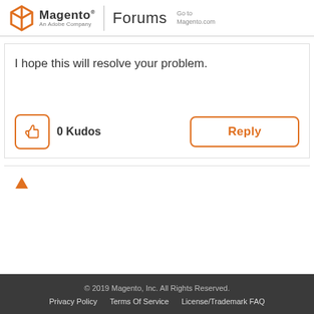Magento Forums - Go to Magento.com
I hope this will resolve your problem.
[Figure (other): Thumbs up kudos button with 0 Kudos count and a Reply button]
[Figure (other): Orange up arrow icon]
© 2019 Magento, Inc. All Rights Reserved. Privacy Policy  Terms Of Service  License/Trademark FAQ